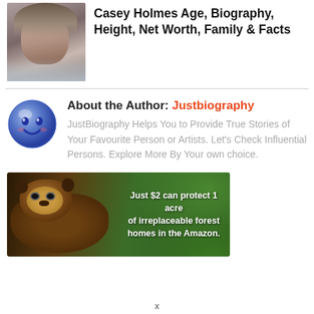Casey Holmes Age, Biography, Height, Net Worth, Family & Facts
About the Author: Justbiography
JustBiography Helps You to Provide True Stories of Your Favourite Person or Artists. Let's Check Influential Persons. Explore More By Your own choice.
[Figure (photo): Advertisement banner showing a monkey/sloth in the Amazon rainforest with text: Just $2 can protect 1 acre of irreplaceable forest homes in the Amazon.]
x